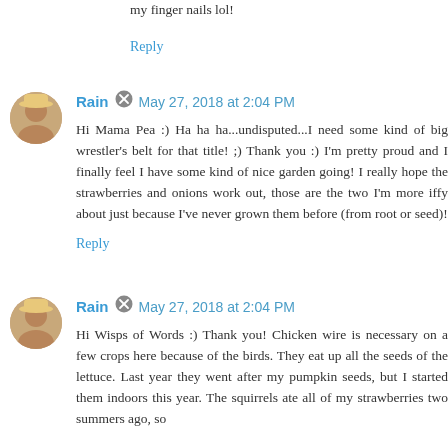my finger nails lol!
Reply
Rain  May 27, 2018 at 2:04 PM
Hi Mama Pea :) Ha ha ha...undisputed...I need some kind of big wrestler's belt for that title! ;) Thank you :) I'm pretty proud and I finally feel I have some kind of nice garden going! I really hope the strawberries and onions work out, those are the two I'm more iffy about just because I've never grown them before (from root or seed)!
Reply
Rain  May 27, 2018 at 2:04 PM
Hi Wisps of Words :) Thank you! Chicken wire is necessary on a few crops here because of the birds. They eat up all the seeds of the lettuce. Last year they went after my pumpkin seeds, but I started them indoors this year. The squirrels ate all of my strawberries two summers ago, so